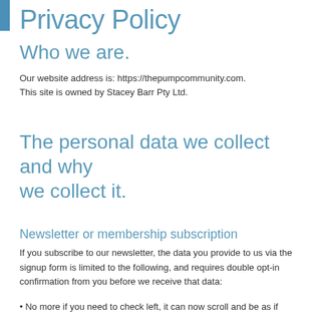Privacy Policy
Who we are.
Our website address is: https://thepumpcommunity.com. This site is owned by Stacey Barr Pty Ltd.
The personal data we collect and why we collect it.
Newsletter or membership subscription
If you subscribe to our newsletter, the data you provide to us via the signup form is limited to the following, and requires double opt-in confirmation from you before we receive that data: